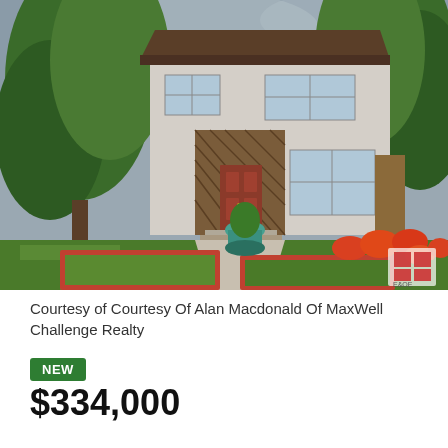[Figure (photo): Exterior photo of a two-storey residential house with white/beige siding, brown trim, a wooden lattice-covered entrance, steps leading to a red front door, large trees on both sides, a concrete walkway, and a landscaped front yard with raised red garden beds containing flowers and green plants. Overcast sky in the background.]
Courtesy of Courtesy Of Alan Macdonald Of MaxWell Challenge Realty
NEW
$334,000